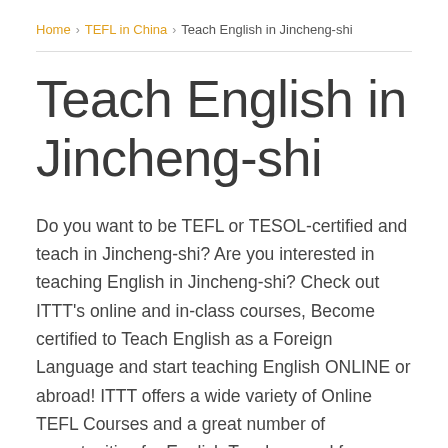Home > TEFL in China > Teach English in Jincheng-shi
Teach English in Jincheng-shi
Do you want to be TEFL or TESOL-certified and teach in Jincheng-shi? Are you interested in teaching English in Jincheng-shi? Check out ITTT's online and in-class courses, Become certified to Teach English as a Foreign Language and start teaching English ONLINE or abroad! ITTT offers a wide variety of Online TEFL Courses and a great number of opportunities for English Teachers and for Teachers of English as a Second Language.